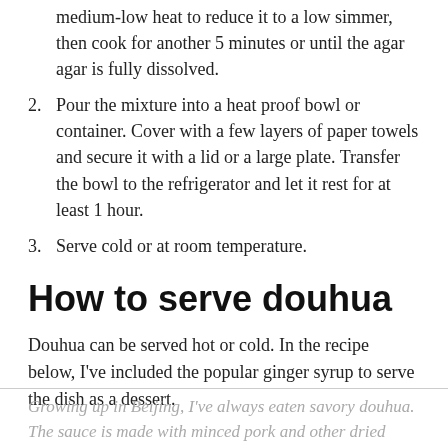medium-low heat to reduce it to a low simmer, then cook for another 5 minutes or until the agar agar is fully dissolved.
2. Pour the mixture into a heat proof bowl or container. Cover with a few layers of paper towels and secure it with a lid or a large plate. Transfer the bowl to the refrigerator and let it rest for at least 1 hour.
3. Serve cold or at room temperature.
How to serve douhua
Douhua can be served hot or cold. In the recipe below, I've included the popular ginger syrup to serve the dish as a dessert.
Growing up in Beijing, I've always eaten savory douhua. The sauce is made with minced pork and other dried